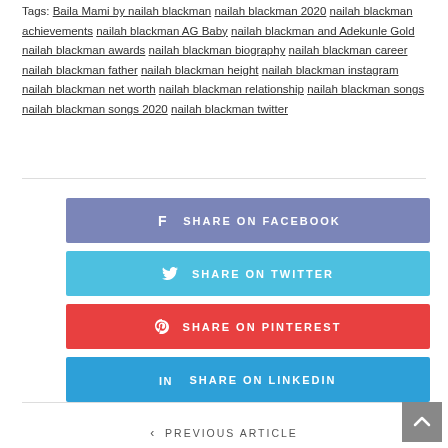Tags: Baila Mami by nailah blackman  nailah blackman 2020  nailah blackman achievements  nailah blackman AG Baby  nailah blackman and Adekunle Gold  nailah blackman awards  nailah blackman biography  nailah blackman career  nailah blackman father  nailah blackman height  nailah blackman instagram  nailah blackman net worth  nailah blackman relationship  nailah blackman songs  nailah blackman songs 2020  nailah blackman twitter
SHARE ON FACEBOOK
SHARE ON TWITTER
SHARE ON PINTEREST
SHARE ON LINKEDIN
< PREVIOUS ARTICLE